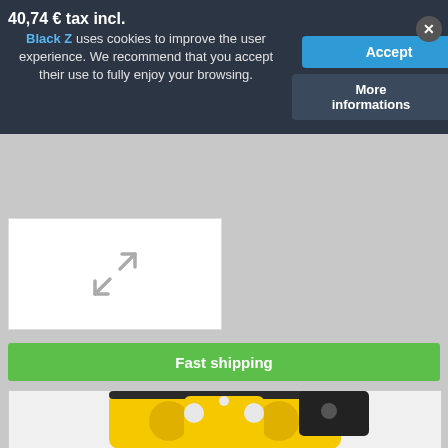40,74 € tax incl.
Black Z uses cookies to improve the user experience. We recommend that you accept their use to fully enjoy your browsing.
Accept
More informations
[Figure (screenshot): Expand/fullscreen icon (two diagonal arrows) on white background thumbnail]
Fast shipping
[Figure (photo): Yellow and black climbing/safety device (Petzl descender or ascender) viewed from front, showing metallic frame with holes and black rubber grips]